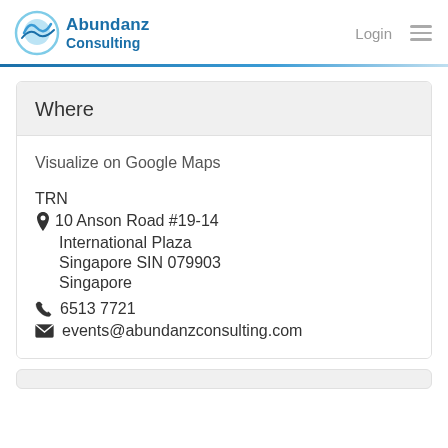Abundanz Consulting | Login
Where
Visualize on Google Maps
TRN
📍 10 Anson Road #19-14
International Plaza
Singapore SIN 079903
Singapore
📞 6513 7721
✉ events@abundanzconsulting.com